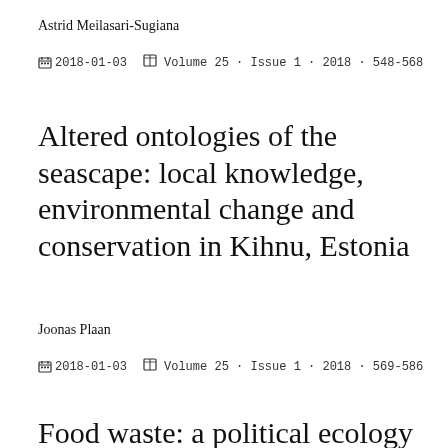Astrid Meilasari-Sugiana
2018-01-03   Volume 25 · Issue 1 · 2018 · 548-568
Altered ontologies of the seascape: local knowledge, environmental change and conservation in Kihnu, Estonia
Joonas Plaan
2018-01-03   Volume 25 · Issue 1 · 2018 · 569-586
Food waste: a political ecology